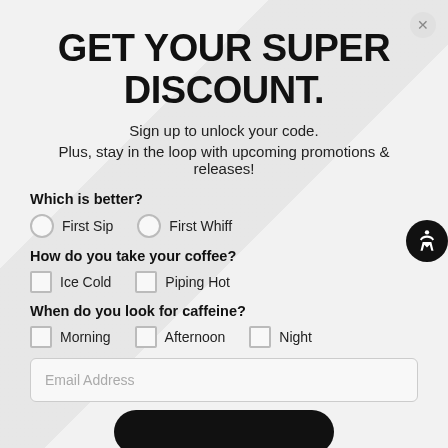GET YOUR SUPER DISCOUNT.
Sign up to unlock your code.
Plus, stay in the loop with upcoming promotions & releases!
Which is better?
First Sip
First Whiff
How do you take your coffee?
Ice Cold
Piping Hot
When do you look for caffeine?
Morning
Afternoon
Night
Email Address